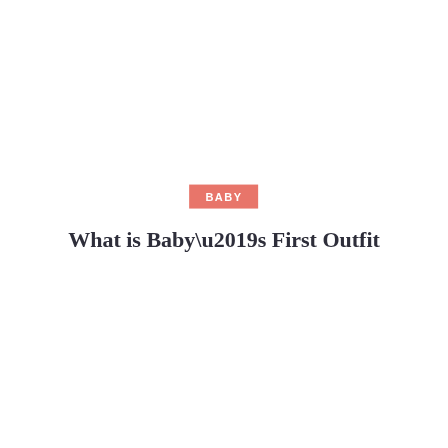BABY
What is Baby’s First Outfit